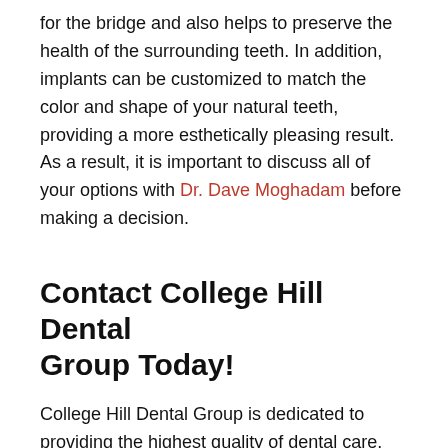for the bridge and also helps to preserve the health of the surrounding teeth. In addition, implants can be customized to match the color and shape of your natural teeth, providing a more esthetically pleasing result. As a result, it is important to discuss all of your options with Dr. Dave Moghadam before making a decision.
Contact College Hill Dental Group Today!
College Hill Dental Group is dedicated to providing the highest quality of dental care. Our staff is committed to making your experience as comfortable and convenient as possible. We offer a wide range of services, including general dentistry and cosmetic dentistry. For more information or to schedule an